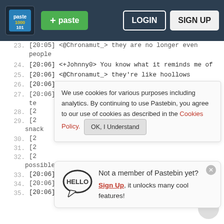Pastebin header with logo, + paste button, LOGIN button, SIGN UP button
23. [20:05] <@Chronamut_> they are no longer even people
24. [20:06] <+Johnny0> You know what it reminds me of
25. [20:06] <@Chronamut_> they're like hoollows
26. [20:06] <@Chronamut_> *hollows
27. [20:06] <+Johnny0> You guys know I work as a te...
28. [2...
29. [2... snack
30. [2...
31. [2...
32. [2... possible to swindle another snack out of us
33. [20:06] <+freaksy> dont starve em
34. [20:06] <+Johnny0> Thats how I feel in the forums
35. [20:06] <@Chronamut_> if you starve them they get
We use cookies for various purposes including analytics. By continuing to use Pastebin, you agree to our use of cookies as described in the Cookies Policy. OK, I Understand
Not a member of Pastebin yet? Sign Up, it unlocks many cool features!